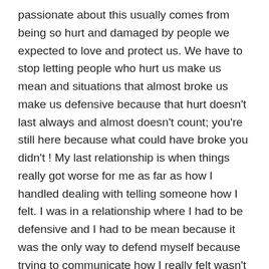passionate about this usually comes from being so hurt and damaged by people we expected to love and protect us. We have to stop letting people who hurt us make us mean and situations that almost broke us make us defensive because that hurt doesn't last always and almost doesn't count; you're still here because what could have broke you didn't ! My last relationship is when things really got worse for me as far as how I handled dealing with telling someone how I felt. I was in a relationship where I had to be defensive and I had to be mean because it was the only way to defend myself because trying to communicate how I really felt wasn't taken seriously. It was not until the end of that relationship that I promised myself to change how I handled things because I knew that I could not continue doing things the same way.